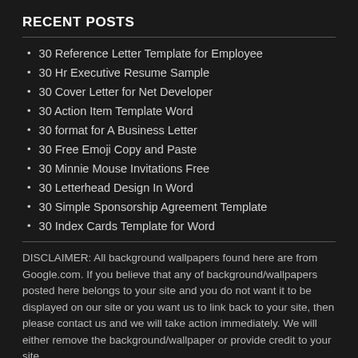RECENT POSTS
30 Reference Letter Template for Employee
30 Hr Executive Resume Sample
30 Cover Letter for Net Developer
30 Action Item Template Word
30 format for A Business Letter
30 Free Emoji Copy and Paste
30 Minnie Mouse Invitations Free
30 Letterhead Design In Word
30 Simple Sponsorship Agreement Template
30 Index Cards Template for Word
DISCLAIMER: All background wallpapers found here are from Google.com. If you believe that any of background/wallpapers posted here belongs to your site and you do not want it to be displayed on our site or you want us to link back to your site, then please contact us and we will take action immediately. We will either remove the background/wallpaper or provide credit to your site.